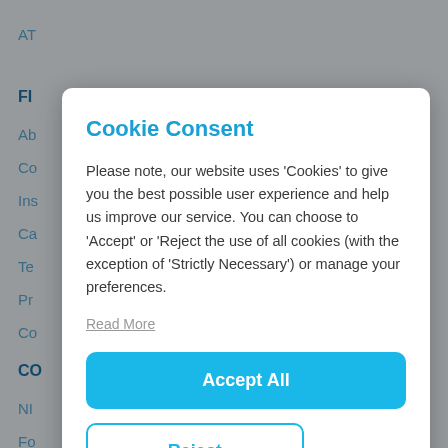Cookie Consent
Please note, our website uses 'Cookies' to give you the best possible user experience and help us improve our service. You can choose to 'Accept' or 'Reject the use of all cookies (with the exception of 'Strictly Necessary') or manage your preferences.
Read More
Accept All
Reject